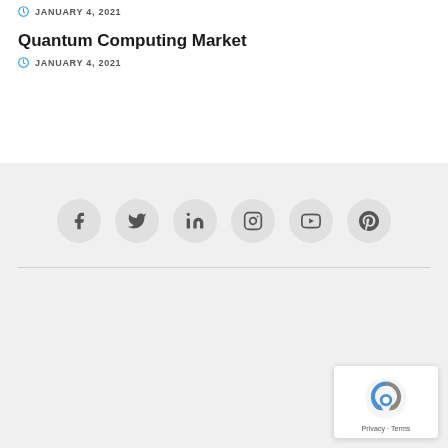JANUARY 4, 2021
Quantum Computing Market
JANUARY 4, 2021
[Figure (other): Social media icons row: Facebook, Twitter, LinkedIn, Instagram, YouTube, Pinterest]
[Figure (logo): reCAPTCHA badge with Privacy and Terms text]